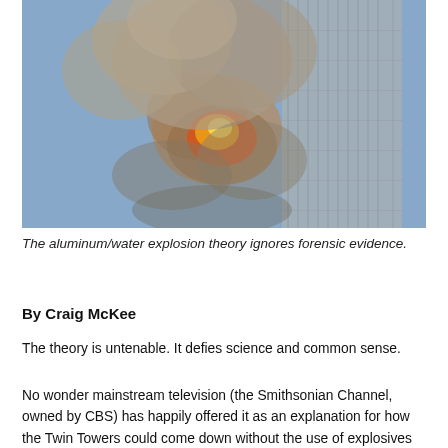[Figure (photo): Photograph of the Twin Towers on 9/11 with fire and smoke billowing from one of the towers against a blue sky.]
The aluminum/water explosion theory ignores forensic evidence.
By Craig McKee
The theory is untenable. It defies science and common sense.
No wonder mainstream television (the Smithsonian Channel, owned by CBS) has happily offered it as an explanation for how the Twin Towers could come down without the use of explosives on 9/11. But this